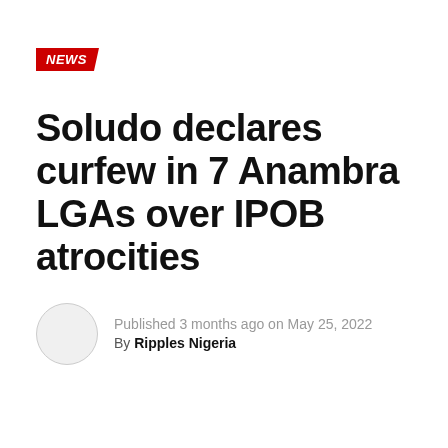NEWS
Soludo declares curfew in 7 Anambra LGAs over IPOB atrocities
Published 3 months ago on May 25, 2022
By Ripples Nigeria